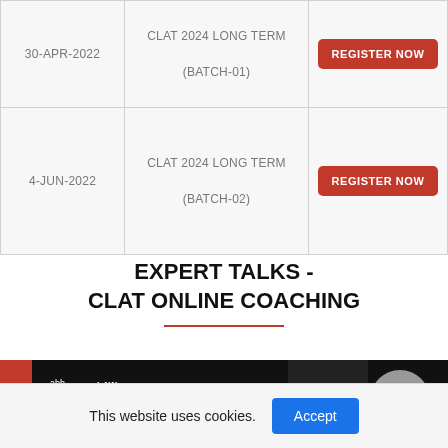| Date | Course | Action |
| --- | --- | --- |
| 30-APR-2022 | CLAT 2024 LONG TERM
(BATCH-01) | REGISTER NOW |
| 4-JUN-2022 | CLAT 2024 LONG TERM
(BATCH-02) | REGISTER NOW |
EXPERT TALKS - CLAT ONLINE COACHING
[Figure (screenshot): Video thumbnail showing a dark background with a logo/text area on the left reading 'abh... LAW KEEP' and a circular play button on the right, set on a red banner background.]
This website uses cookies.